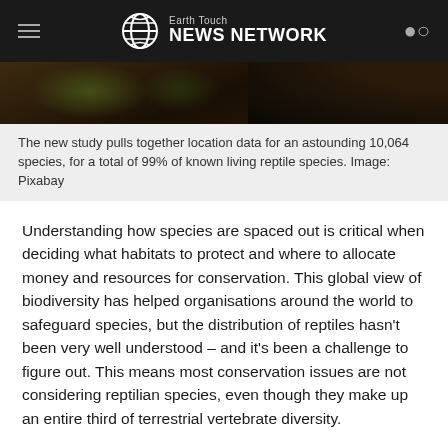Earth Touch NEWS NETWORK
[Figure (photo): Close-up photo of a lizard or reptile on dark rocky substrate, partial view showing scales and coloring]
The new study pulls together location data for an astounding 10,064 species, for a total of 99% of known living reptile species. Image: Pixabay
Understanding how species are spaced out is critical when deciding what habitats to protect and where to allocate money and resources for conservation. This global view of biodiversity has helped organisations around the world to safeguard species, but the distribution of reptiles hasn't been very well understood – and it's been a challenge to figure out. This means most conservation issues are not considering reptilian species, even though they make up an entire third of terrestrial vertebrate diversity.
"Mapping the distributions of all reptiles was considered too difficult to tackle," said Shai Meiri of Tel Aviv University, who has been a leader on the project since its inception. "But thanks to a team of experts on the lizards and snakes